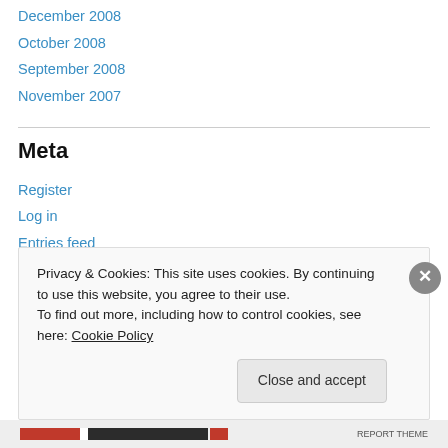December 2008
October 2008
September 2008
November 2007
Meta
Register
Log in
Entries feed
Comments feed
WordPress.com
Privacy & Cookies: This site uses cookies. By continuing to use this website, you agree to their use. To find out more, including how to control cookies, see here: Cookie Policy
Close and accept